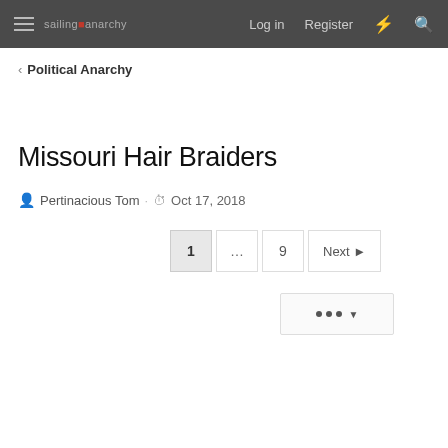sailing anarchy | Log in | Register
< Political Anarchy
Missouri Hair Braiders
Pertinacious Tom · Oct 17, 2018
1 ... 9 Next ▶
• • • ▾